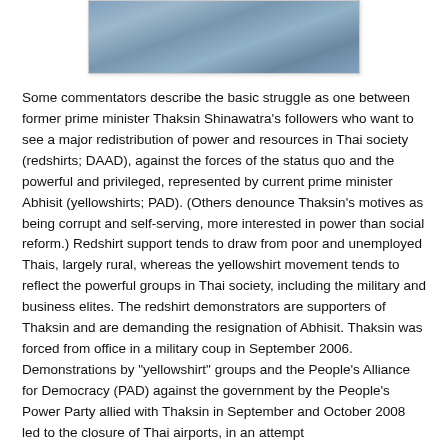[Figure (photo): Aerial/satellite photograph showing a urban or port area, partially visible at the top of the page, with a light border and shadow.]
Some commentators describe the basic struggle as one between former prime minister Thaksin Shinawatra's followers who want to see a major redistribution of power and resources in Thai society (redshirts; DAAD), against the forces of the status quo and the powerful and privileged, represented by current prime minister Abhisit (yellowshirts; PAD). (Others denounce Thaksin's motives as being corrupt and self-serving, more interested in power than social reform.) Redshirt support tends to draw from poor and unemployed Thais, largely rural, whereas the yellowshirt movement tends to reflect the powerful groups in Thai society, including the military and business elites. The redshirt demonstrators are supporters of Thaksin and are demanding the resignation of Abhisit. Thaksin was forced from office in a military coup in September 2006. Demonstrations by "yellowshirt" groups and the People's Alliance for Democracy (PAD) against the government by the People's Power Party allied with Thaksin in September and October 2008 led to the closure of Thai airports, in an attempt...